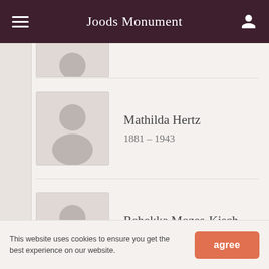Joods Monument
[Figure (photo): Placeholder avatar silhouette for partially visible person at top of list]
[Figure (photo): Placeholder avatar silhouette for Mathilda Hertz]
Mathilda Hertz
1881 – 1943
[Figure (photo): Placeholder avatar silhouette for Rebekka Mozes-Kisch]
Rebekka Mozes-Kisch
1869 – 1943
[Figure (photo): Placeholder avatar silhouette for Louis Israel Kiek]
Louis Israel Kiek
1913 – 1943
This website uses cookies to ensure you get the best experience on our website.